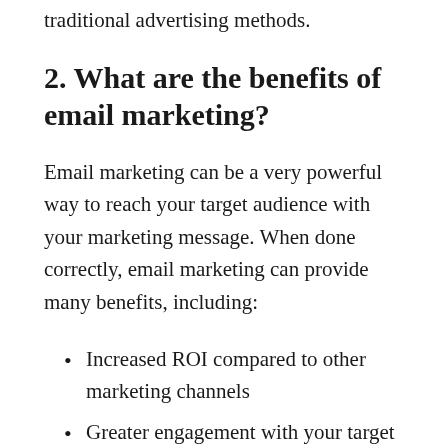traditional advertising methods.
2. What are the benefits of email marketing?
Email marketing can be a very powerful way to reach your target audience with your marketing message. When done correctly, email marketing can provide many benefits, including:
Increased ROI compared to other marketing channels
Greater engagement with your target audience